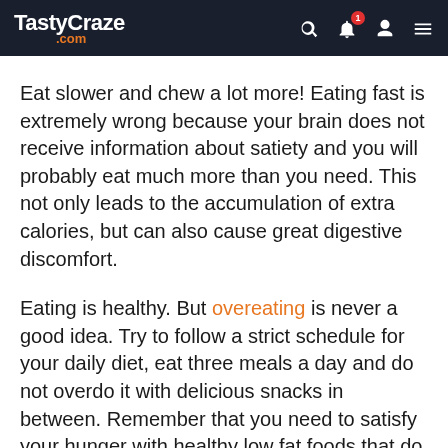TastyCraze.com
Eat slower and chew a lot more! Eating fast is extremely wrong because your brain does not receive information about satiety and you will probably eat much more than you need. This not only leads to the accumulation of extra calories, but can also cause great digestive discomfort.
Eating is healthy. But overeating is never a good idea. Try to follow a strict schedule for your daily diet, eat three meals a day and do not overdo it with delicious snacks in between. Remember that you need to satisfy your hunger with healthy low fat foods that do not affect your figure or health!